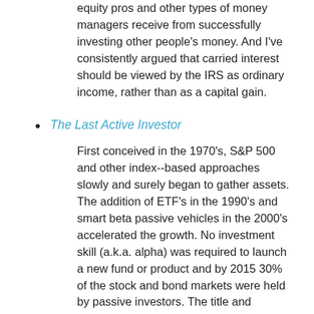equity pros and other types of money managers receive from successfully investing other people's money. And I've consistently argued that carried interest should be viewed by the IRS as ordinary income, rather than as a capital gain.
The Last Active Investor
First conceived in the 1970's, S&P 500 and other index--based approaches slowly and surely began to gather assets. The addition of ETF's in the 1990's and smart beta passive vehicles in the 2000's accelerated the growth. No investment skill (a.k.a. alpha) was required to launch a new fund or product and by 2015 30% of the stock and bond markets were held by passive investors. The title and...